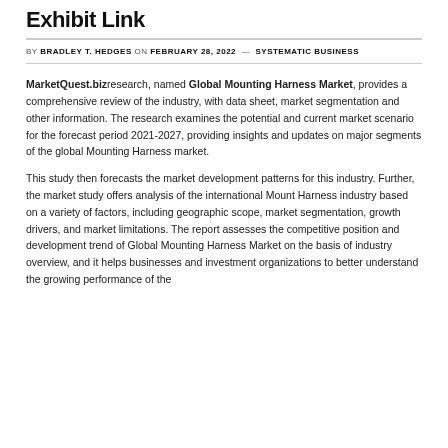Exhibit Link
BY BRADLEY T. HEDGES ON FEBRUARY 28, 2022   SYSTEMATIC BUSINESS
MarketQuest.biz research, named Global Mounting Harness Market, provides a comprehensive review of the industry, with data sheet, market segmentation and other information. The research examines the potential and current market scenario for the forecast period 2021-2027, providing insights and updates on major segments of the global Mounting Harness market.
This study then forecasts the market development patterns for this industry. Further, the market study offers analysis of the international Mount Harness industry based on a variety of factors, including geographic scope, market segmentation, growth drivers, and market limitations. The report assesses the competitive position and development trend of Global Mounting Harness Market on the basis of industry overview, and it helps businesses and investment organizations to better understand the growing performance of the